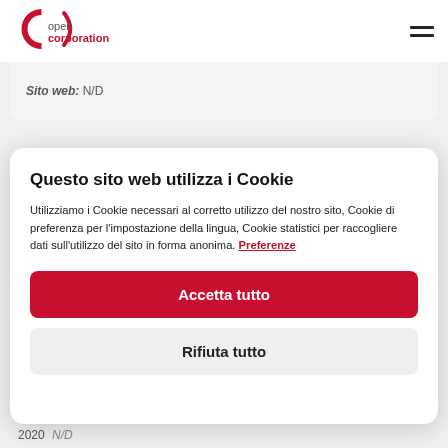[Figure (logo): OpenCorporation logo — red stylized C with text 'open corporation']
Sito web: N/D
Questo sito web utilizza i Cookie
Utilizziamo i Cookie necessari al corretto utilizzo del nostro sito, Cookie di preferenza per l'impostazione della lingua, Cookie statistici per raccogliere dati sull'utilizzo del sito in forma anonima. Preferenze
Accetta tutto
Rifiuta tutto
2020  N/D